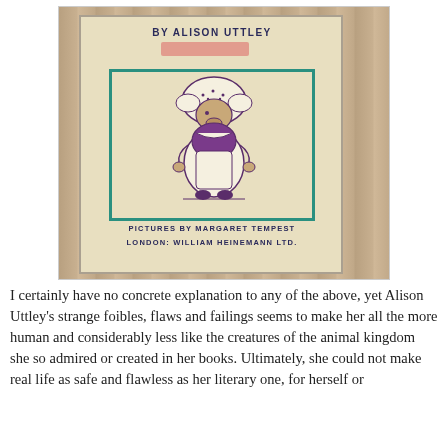[Figure (photo): Photograph of an old book cover by Alison Uttley, with an illustration of a hedgehog character in a bonnet and dress, teal border frame, text 'PICTURES BY MARGARET TEMPEST' and 'LONDON: WILLIAM HEINEMANN LTD.', book resting on a wooden surface.]
I certainly have no concrete explanation to any of the above, yet Alison Uttley's strange foibles, flaws and failings seems to make her all the more human and considerably less like the creatures of the animal kingdom she so admired or created in her books. Ultimately, she could not make real life as safe and flawless as her literary one, for herself or